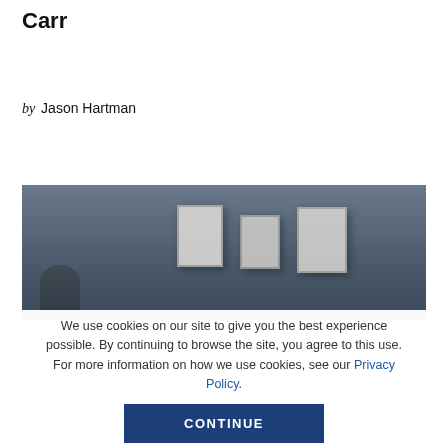Carr
by Jason Hartman
[Figure (photo): Interior gallery or hallway wall with three framed artworks or posters mounted on a dark grey wall, with a silhouetted figure partially visible at lower left.]
We use cookies on our site to give you the best experience possible. By continuing to browse the site, you agree to this use. For more information on how we use cookies, see our Privacy Policy.
CONTINUE